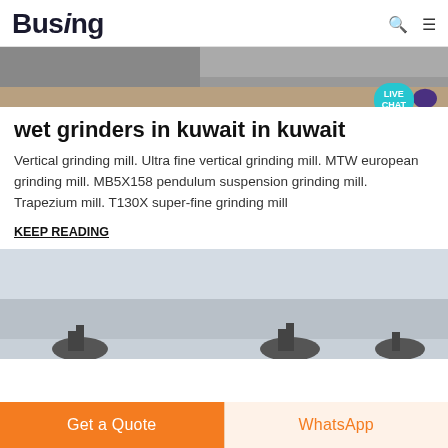Busing
[Figure (photo): Top banner image showing industrial machinery, partially visible at top of page. A live chat bubble overlay in teal/turquoise with speech bubble icon is visible in the top right.]
wet grinders in kuwait in kuwait
Vertical grinding mill. Ultra fine vertical grinding mill. MTW european grinding mill. MB5X158 pendulum suspension grinding mill. Trapezium mill. T130X super-fine grinding mill
KEEP READING
[Figure (photo): Bottom image showing outdoor scene with grey sky and dark silhouettes of industrial equipment or machinery at the bottom.]
Get a Quote
WhatsApp